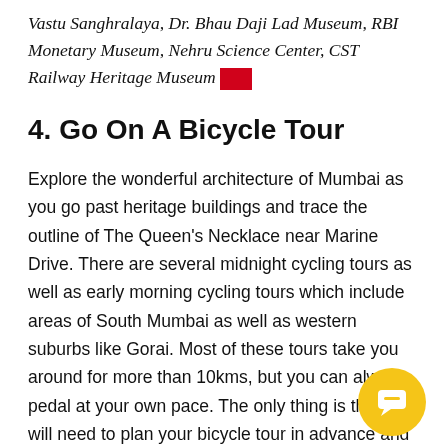Vastu Sanghralaya, Dr. Bhau Daji Lad Museum, RBI Monetary Museum, Nehru Science Center, CST Railway Heritage Museum
4. Go On A Bicycle Tour
Explore the wonderful architecture of Mumbai as you go past heritage buildings and trace the outline of The Queen's Necklace near Marine Drive. There are several midnight cycling tours as well as early morning cycling tours which include areas of South Mumbai as well as western suburbs like Gorai. Most of these tours take you around for more than 10kms, but you can always pedal at your own pace. The only thing is that you will need to plan your bicycle tour in advance and will need to your spot booked if you are going via a tour operator...